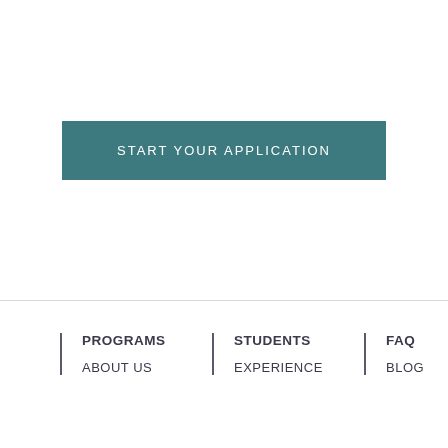START YOUR APPLICATION
PROGRAMS | STUDENTS | FAQ | ABOUT US | EXPERIENCE | BLOG